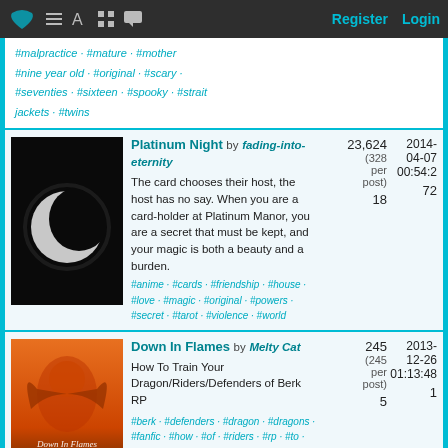Register  Login
#malpractice · #mature · #mother · #nine year old · #original · #scary · #seventies · #sixteen · #spooky · #strait jackets · #twins
Platinum Night by fading-into-eternity — The card chooses their host, the host has no say. When you are a card-holder at Platinum Manor, you are a secret that must be kept, and your magic is both a beauty and a burden. 23,624 (328 per post) 2014-04-07 00:54:2 18 72 #anime · #cards · #friendship · #house · #love · #magic · #original · #powers · #secret · #tarot · #violence · #world
Down In Flames by Melty Cat — How To Train Your Dragon/Riders/Defenders of Berk RP 245 (245 per post) 2013-12-26 01:13:48 5 1 #berk · #defenders · #dragon · #dragons · #fanfic · #how · #of · #riders · #rp · #to · #train · #your
Destroy Your Demons by AmyGotScared 6,140 2013-